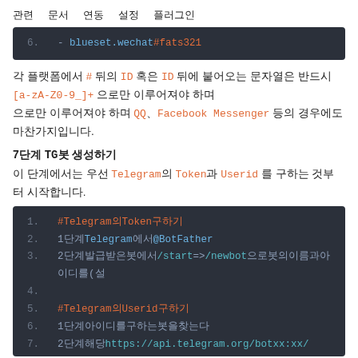관련 문서 연동 설정 플러그인
[Figure (screenshot): Dark code block showing: 6.  - blueset.wechat#fats321]
각 플랫폼에서 # 뒤의 ID 혹은 ID 뒤에 붙어오는 문자열은 반드시 [a-zA-Z0-9_]+ 으로만 이루어져야 하며 QQ、Facebook Messenger 등의 경우에도 마찬가지입니다.
7단계 TG봇 생성하기
이 단계에서는 우선 Telegram의 Token과 Userid를 구하는 것부터 시작합니다.
[Figure (screenshot): Dark code block showing numbered lines: 1. #Telegram의Token구하기  2. 1단계Telegram에서@BotFather  3. 2단계발급받은봇에서/start=>/newbot으로봇의이름과아이디를(설  4. (empty)  5. #Telegram의Userid구하기  6. 1단계아이디를구하는봇을찾는다  7. 2단계해당https://api.telegram.org/botxx:xx/]